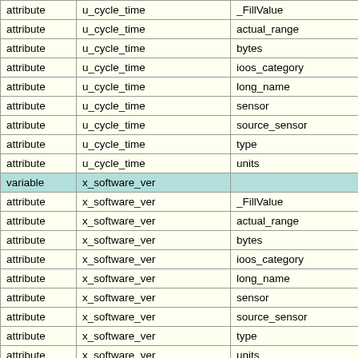|  |  |  |
| --- | --- | --- |
| attribute | u_cycle_time | _FillValue |
| attribute | u_cycle_time | actual_range |
| attribute | u_cycle_time | bytes |
| attribute | u_cycle_time | ioos_category |
| attribute | u_cycle_time | long_name |
| attribute | u_cycle_time | sensor |
| attribute | u_cycle_time | source_sensor |
| attribute | u_cycle_time | type |
| attribute | u_cycle_time | units |
| variable | x_software_ver |  |
| attribute | x_software_ver | _FillValue |
| attribute | x_software_ver | actual_range |
| attribute | x_software_ver | bytes |
| attribute | x_software_ver | ioos_category |
| attribute | x_software_ver | long_name |
| attribute | x_software_ver | sensor |
| attribute | x_software_ver | source_sensor |
| attribute | x_software_ver | type |
| attribute | x_software_ver | units |
The information in the table above is also available in other file formats